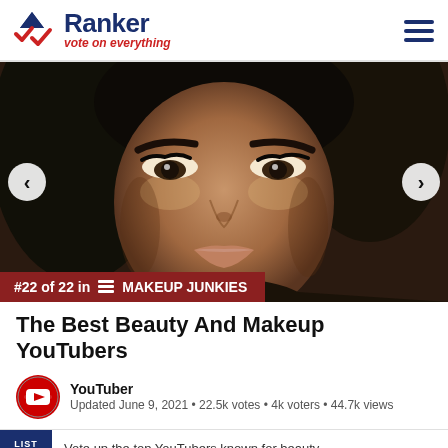Ranker — vote on everything
[Figure (photo): Close-up portrait of a woman with dramatic makeup, dark hair, bold brows, and nude lips]
#22 of 22 in MAKEUP JUNKIES
The Best Beauty And Makeup YouTubers
YouTuber
Updated June 9, 2021 • 22.5k votes • 4k voters • 44.7k views
Vote up the top YouTubers known for beauty